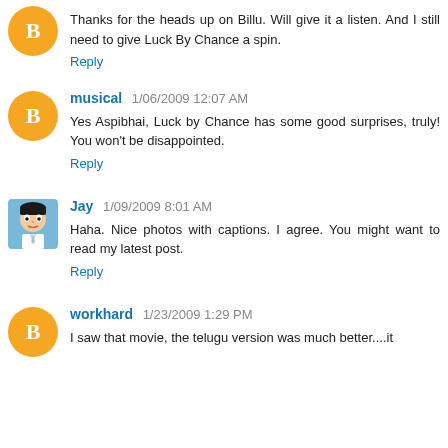Thanks for the heads up on Billu. Will give it a listen. And I still need to give Luck By Chance a spin.
Reply
musical 1/06/2009 12:07 AM
Yes Aspibhai, Luck by Chance has some good surprises, truly! You won't be disappointed.
Reply
Jay 1/09/2009 8:01 AM
Haha. Nice photos with captions. I agree. You might want to read my latest post.
Reply
workhard 1/23/2009 1:29 PM
I saw that movie, the telugu version was much better....it